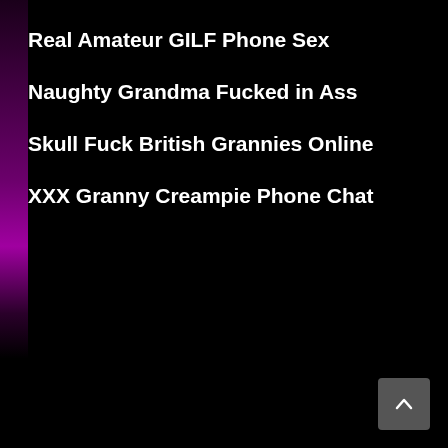Real Amateur GILF Phone Sex
Naughty Grandma Fucked in Ass
Skull Fuck British Grannies Online
XXX Granny Creampie Phone Chat